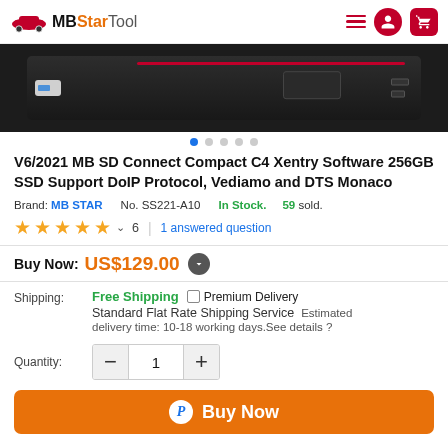MBStarTool
[Figure (photo): Black laptop docking station or device shown in close-up against dark background]
V6/2021 MB SD Connect Compact C4 Xentry Software 256GB SSD Support DoIP Protocol, Vediamo and DTS Monaco
Brand: MB STAR   No. SS221-A10   In Stock.   59 sold.
★★★★★ ▼ 6 | 1 answered question
Buy Now: US$129.00
Shipping: Free Shipping  □ Premium Delivery  Standard Flat Rate Shipping Service  Estimated delivery time: 10-18 working days.See details ?
Quantity: 1
Buy Now